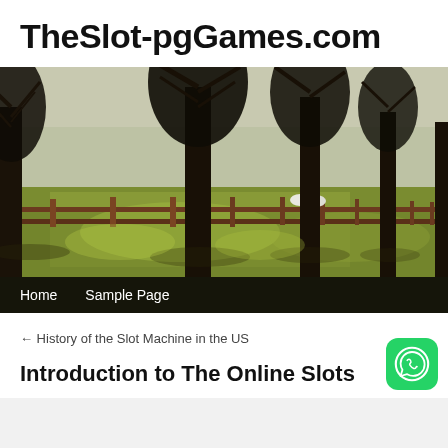TheSlot-pgGames.com
[Figure (photo): Landscape photo of a row of large bare trees in a park with a wooden fence and sheep grazing in the background on green grass]
Home   Sample Page
← History of the Slot Machine in the US
Introduction to The Online Slots